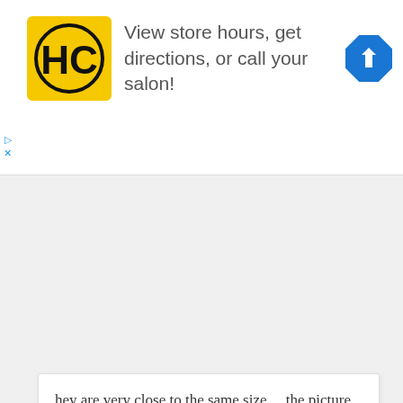[Figure (screenshot): Advertisement banner for Hair Club (HC) salon with yellow logo, text 'View store hours, get directions, or call your salon!' and a blue navigation arrow icon]
hey are very close to the same size… the picture is deceiving… but Yes they yarn did make some difference.
Reply
Ilona
January 19, 2015 at 8:17 am
I have tried 10x to not get the chain to twist when I join. I…